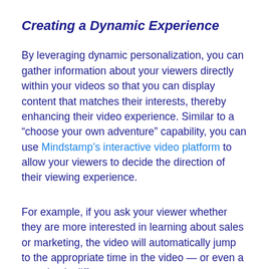Creating a Dynamic Experience
By leveraging dynamic personalization, you can gather information about your viewers directly within your videos so that you can display content that matches their interests, thereby enhancing their video experience. Similar to a “choose your own adventure” capability, you can use Mindstamp’s interactive video platform to allow your viewers to decide the direction of their viewing experience.
For example, if you ask your viewer whether they are more interested in learning about sales or marketing, the video will automatically jump to the appropriate time in the video — or even a completely different